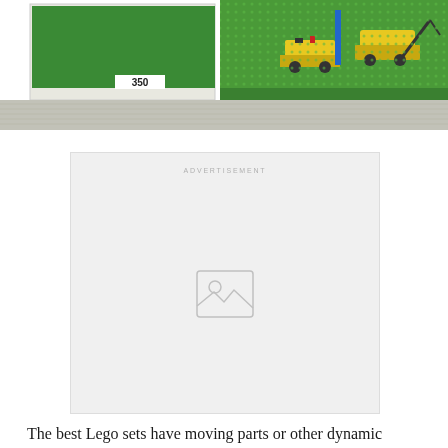[Figure (photo): Top portion of a Lego set catalog image showing green baseplate with construction vehicles and the number 350 visible on a white label in the left panel]
[Figure (other): Advertisement placeholder box with image icon in the center and 'ADVERTISEMENT' text label at top]
The best Lego sets have moving parts or other dynamic features that offer more play value, and this 1972 silo structure features a working crane bolt that could